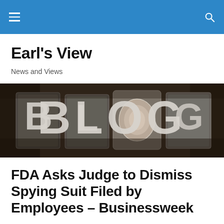Earl's View — Navigation header bar
Earl's View
News and Views
[Figure (photo): Letterpress metal type blocks spelling out BLOG on a dark wooden surface]
FDA Asks Judge to Dismiss Spying Suit Filed by Employees – Businessweek